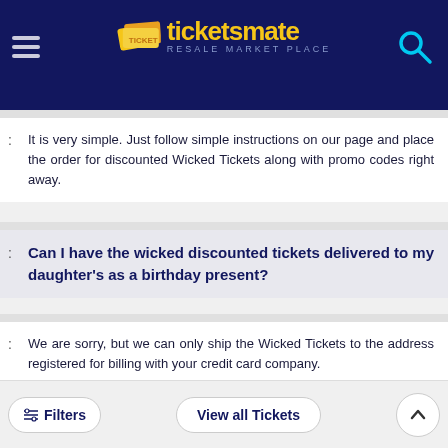[Figure (screenshot): TicketsMate resale marketplace website header with logo, hamburger menu, and search icon]
A: It is very simple. Just follow simple instructions on our page and place the order for discounted Wicked Tickets along with promo codes right away.
Q: Can I have the wicked discounted tickets delivered to my daughter's as a birthday present?
A: We are sorry, but we can only ship the Wicked Tickets to the address registered for billing with your credit card company.
Q: How to find cheap wicked tickets?
...discounted from our website. Enjoy!